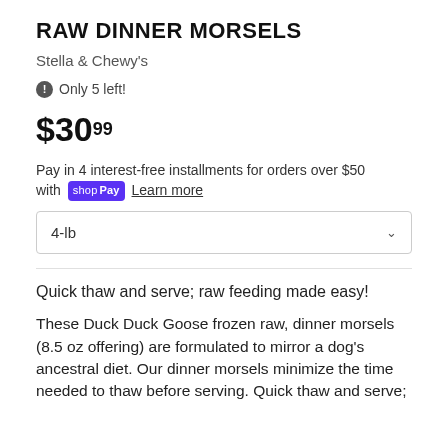RAW DINNER MORSELS
Stella & Chewy's
Only 5 left!
$30.99
Pay in 4 interest-free installments for orders over $50 with shop Pay  Learn more
4-lb
Quick thaw and serve; raw feeding made easy!
These Duck Duck Goose frozen raw, dinner morsels (8.5 oz offering) are formulated to mirror a dog's ancestral diet. Our dinner morsels minimize the time needed to thaw before serving. Quick thaw and serve;